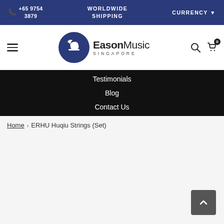📞 +65 9754 3879  WORLDWIDE SHIPPING  CURRENCY ▼
[Figure (logo): Eason Music Singapore logo — dark blue circle with stylized 'E' musical note icon, next to text 'EasonMusic SINGAPORE']
Testimonials
Blog
Contact Us
Home › ERHU Huqiu Strings (Set)